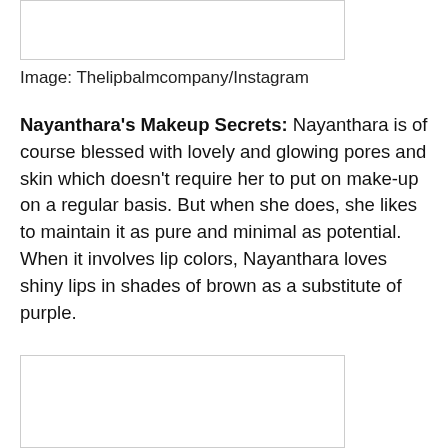[Figure (photo): Empty image placeholder box at top of page]
Image: Thelipbalmcompany/Instagram
Nayanthara's Makeup Secrets: Nayanthara is of course blessed with lovely and glowing pores and skin which doesn't require her to put on make-up on a regular basis. But when she does, she likes to maintain it as pure and minimal as potential. When it involves lip colors, Nayanthara loves shiny lips in shades of brown as a substitute of purple.
[Figure (photo): Empty image placeholder box at bottom of page]